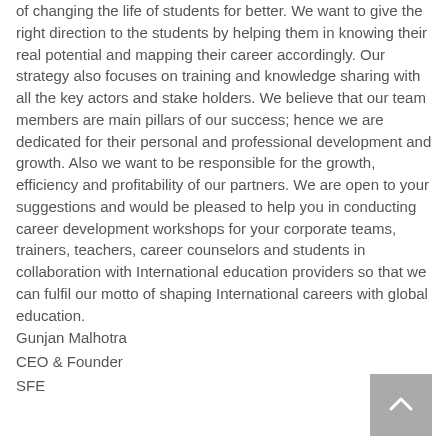of changing the life of students for better. We want to give the right direction to the students by helping them in knowing their real potential and mapping their career accordingly. Our strategy also focuses on training and knowledge sharing with all the key actors and stake holders. We believe that our team members are main pillars of our success; hence we are dedicated for their personal and professional development and growth. Also we want to be responsible for the growth, efficiency and profitability of our partners. We are open to your suggestions and would be pleased to help you in conducting career development workshops for your corporate teams, trainers, teachers, career counselors and students in collaboration with International education providers so that we can fulfil our motto of shaping International careers with global education.
Gunjan Malhotra
CEO & Founder
SFE